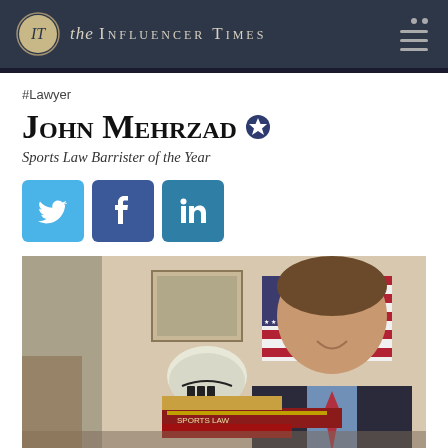the INFLUENCER TIMES
#Lawyer
John Mehrzad
Sports Law Barrister of the Year
[Figure (photo): Photo of John Mehrzad, a man in a dark suit and red tie, seated at a desk with law books including one titled 'Sports Law', an American flag, and a football helmet in the background. He is smiling at the camera.]